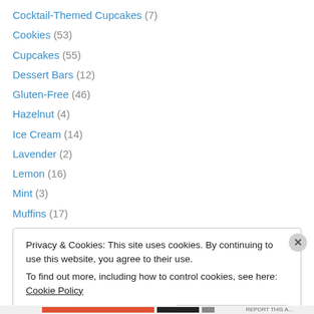Cocktail-Themed Cupcakes (7)
Cookies (53)
Cupcakes (55)
Dessert Bars (12)
Gluten-Free (46)
Hazelnut (4)
Ice Cream (14)
Lavender (2)
Lemon (16)
Mint (3)
Muffins (17)
Pastry (1)
Peanut Butter (12)
Privacy & Cookies: This site uses cookies. By continuing to use this website, you agree to their use. To find out more, including how to control cookies, see here: Cookie Policy
Close and accept